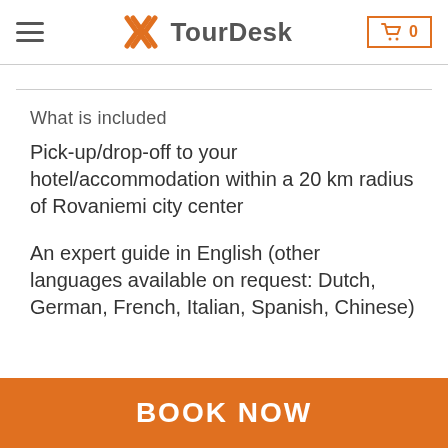TourDesk
What is included
Pick-up/drop-off to your hotel/accommodation within a 20 km radius of Rovaniemi city center
An expert guide in English (other languages available on request: Dutch, German, French, Italian, Spanish, Chinese)
BOOK NOW